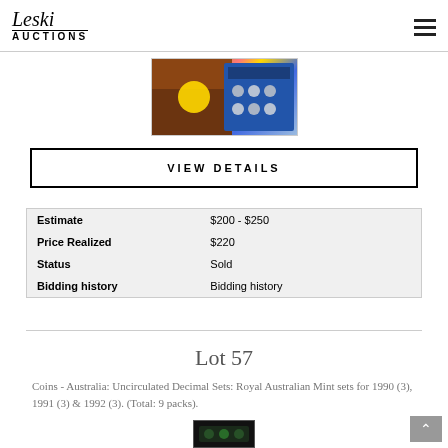Leski Auctions
[Figure (photo): Auction item photo showing coin sets with orange/sunset card and blue coin display tray]
VIEW DETAILS
| Estimate | $200 - $250 |
| Price Realized | $220 |
| Status | Sold |
| Bidding history | Bidding history |
Lot 57
Coins - Australia: Uncirculated Decimal Sets: Royal Australian Mint sets for 1990 (3), 1991 (3) & 1992 (3). (Total: 9 packs).
[Figure (photo): Partial bottom image of coin set packaging]